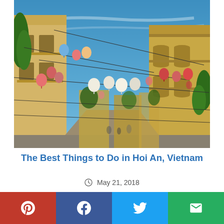[Figure (photo): Street scene in Hoi An, Vietnam. Colorful paper lanterns strung on wires across a narrow street flanked by yellow and beige colonial-style buildings. Clear blue sky above. People visible in the distance.]
The Best Things to Do in Hoi An, Vietnam
May 21, 2018